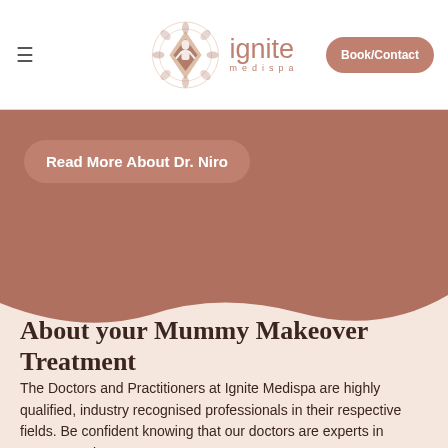≡  ignite medispa  Book/Contact
Read More About Dr. Niro
About your Mummy Makeover Treatment
The Doctors and Practitioners at Ignite Medispa are highly qualified, industry recognised professionals in their respective fields. Be confident knowing that our doctors are experts in Mummy Makeover Treatments.